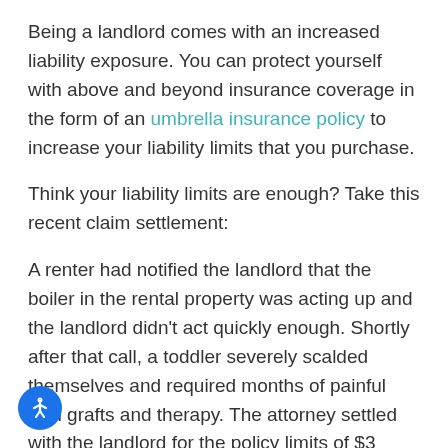Being a landlord comes with an increased liability exposure. You can protect yourself with above and beyond insurance coverage in the form of an umbrella insurance policy to increase your liability limits that you purchase.
Think your liability limits are enough? Take this recent claim settlement:
A renter had notified the landlord that the boiler in the rental property was acting up and the landlord didn't act quickly enough. Shortly after that call, a toddler severely scalded themselves and required months of painful skin grafts and therapy. The attorney settled with the landlord for the policy limits of $3 million.